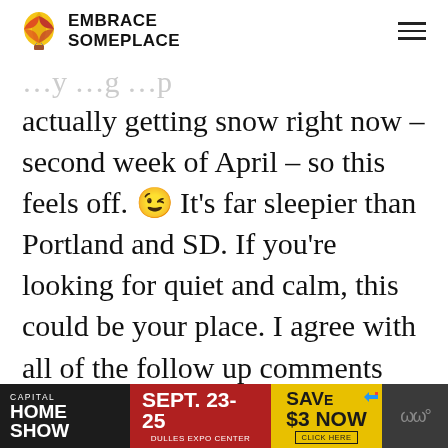[Figure (logo): Embrace Someplace logo with hot air balloon icon and bold text]
actually getting snow right now – second week of April – so this feels off. 😉 It's far sleepier than Portland and SD. If you're looking for quiet and calm, this could be your place. I agree with all of the follow up comments and find them to accurately depict current life in Vancouver
[Figure (screenshot): Advertisement banner: Capital Home Show, Sept. 23-25, Dulles Expo Center, Save $3 Now, Click Here]